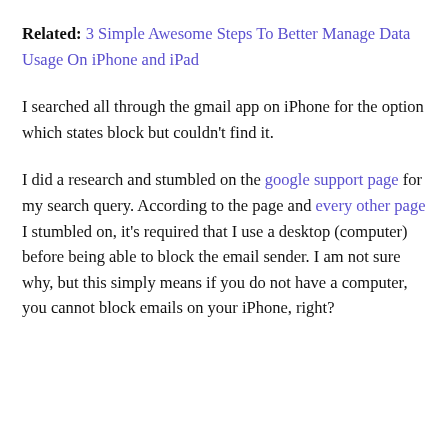emails as spam but they kept coming. The only option at this point, was to block the sender's email.
Related: 3 Simple Awesome Steps To Better Manage Data Usage On iPhone and iPad
I searched all through the gmail app on iPhone for the option which states block but couldn't find it.
I did a research and stumbled on the google support page for my search query. According to the page and every other page I stumbled on, it's required that I use a desktop (computer) before being able to block the email sender. I am not sure why, but this simply means if you do not have a computer, you cannot block emails on your iPhone, right?